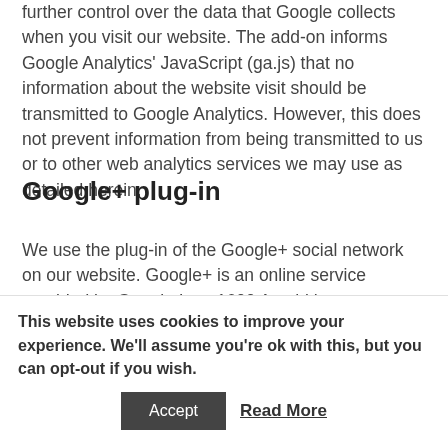installed on the most popular browsers and offers you further control over the data that Google collects when you visit our website. The add-on informs Google Analytics' JavaScript (ga.js) that no information about the website visit should be transmitted to Google Analytics. However, this does not prevent information from being transmitted to us or to other web analytics services we may use as detailed herein.
Google+ plug-in
We use the plug-in of the Google+ social network on our website. Google+ is an online service provided by Google Inc., 1600 Amphitheatre Parkway, Mountain View. CA 94043 (hereinafter: Google).
This website uses cookies to improve your experience. We'll assume you're ok with this, but you can opt-out if you wish.